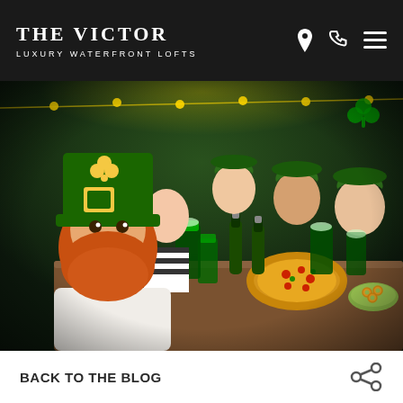THE VICTOR | LUXURY WATERFRONT LOFTS
[Figure (photo): Group of six friends celebrating St. Patrick's Day at a bar/restaurant table, wearing green leprechaun hats, holding green beer, with pizza and snacks on the table. Person in foreground has a red beard, large green leprechaun hat, and green suspenders, taking a selfie.]
BACK TO THE BLOG